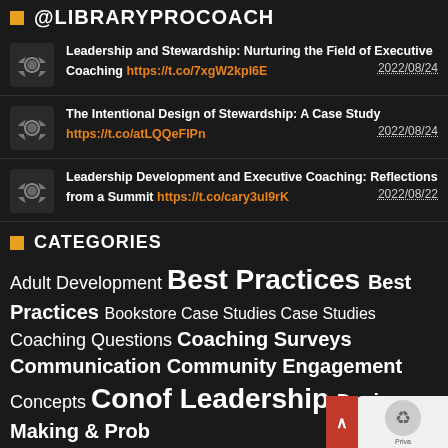@LIBRARYPROCOACH
Leadership and Stewardship: Nurturing the Field of Executive Coaching https://t.co/7xgW2kpl6E 2022/08/24
The Intentional Design of Stewardship: A Case Study https://t.co/atLQQeFlPn 2022/08/24
Leadership Development and Executive Coaching: Reflections from a Summit https://t.co/cary3ul9rK 2022/08/22
CATEGORIES
Adult Development Best Practices Best Practices Bookstore Case Studies Case Studies Coaching Questions Coaching Surveys Communication Community Engagement Concepts Concepts of Leadership Decison Making & Problem Solving Employee Engagement & Motivation